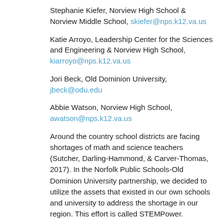Stephanie Kiefer, Norview High School & Norview Middle School, skiefer@nps.k12.va.us
Katie Arroyo, Leadership Center for the Sciences and Engineering & Norview High School, kiarroyo@nps.k12.va.us
Jori Beck, Old Dominion University, jbeck@odu.edu
Abbie Watson, Norview High School, awatson@nps.k12.va.us
Around the country school districts are facing shortages of math and science teachers (Sutcher, Darling-Hammond, & Carver-Thomas, 2017). In the Norfolk Public Schools-Old Dominion University partnership, we decided to utilize the assets that existed in our own schools and university to address the shortage in our region. This effort is called STEMPower.